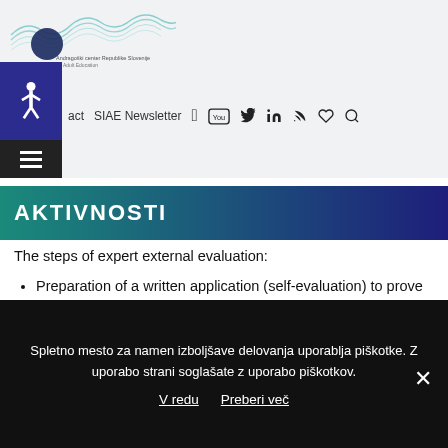[Figure (logo): Andragoški center Republike Slovenije / Slovenian Institute for Adult Education logo with wave graphic]
act   SIAE Newsletter  [social icons: Facebook, YouTube, Twitter, LinkedIn, RSS, Heart, Search]
AKTIVNOSTI
The steps of expert external evaluation:
Preparation of a written application (self-evaluation) to prove that the set quality standards are met.
Formation of teams of expert external evaluators;
Spletno mesto za namen izboljšave delovanja uporablja piškotke. Z uporabo strani soglašate z uporabo piškotkov.
V redu   Preberi več